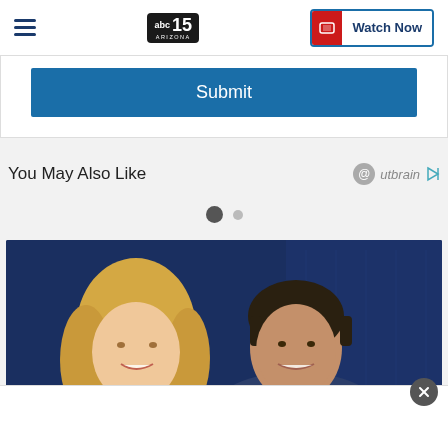ABC15 Arizona — navigation bar with hamburger menu, logo, and Watch Now button
Submit
You May Also Like
[Figure (other): Outbrain logo with circular icon and play arrow]
[Figure (other): Pagination dots: one large filled dark circle and one smaller light dot]
[Figure (photo): Two news anchors, a woman with blonde hair in red top and a man in dark suit, posing against a dark blue studio background]
[Figure (other): Close (X) button circle overlay]
[Figure (other): White advertisement bar at the bottom of the page]